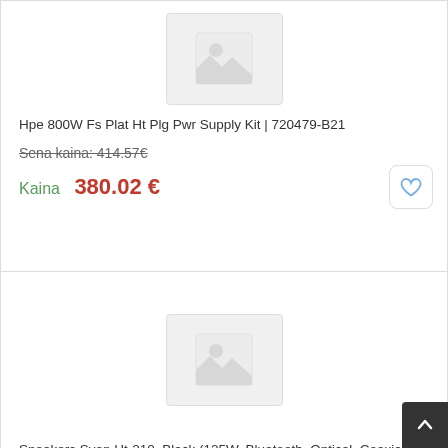[Figure (photo): Product image placeholder for HPE power supply]
Hpe 800W Fs Plat Ht Plg Pwr Supply Kit | 720479-B21
Sena kaina: 414.57€
Kaina 380.02 €
[Figure (photo): Product image placeholder for Sven speakers]
Speakers Sven Ht-210, Black (125W, Bluetooth, Optical, Coaxial, Fm, Usb/Sd, Display, Rc Unit), Sv-014124